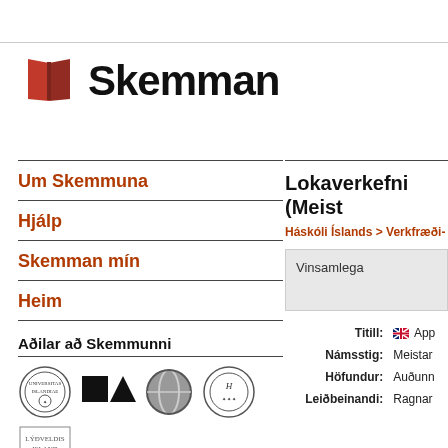[Figure (logo): Skemman logo with red book icon and bold black text]
Um Skemmuna
Hjálp
Skemman mín
Heim
Aðilar að Skemmunni
[Figure (logo): Row of university/institution logos]
Lokaverkefni (Meist
Háskóli Íslands > Verkfræði- o
Vinsamlega
| Label | Value |
| --- | --- |
| Titill: | App |
| Námsstig: | Meistar |
| Höfundur: | Auðunn |
| Leiðbeinandi: | Ragnar |